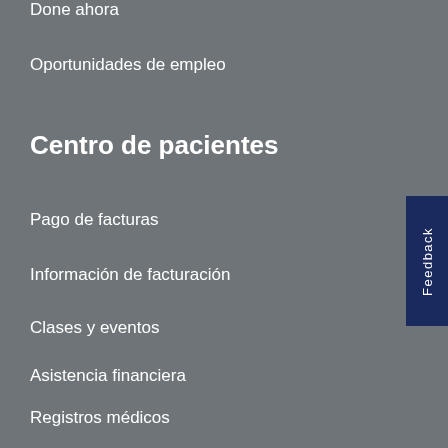Done ahora
Oportunidades de empleo
Centro de pacientes
Pago de facturas
Información de facturación
Clases y eventos
Asistencia financiera
Registros médicos
Portal del paciente MyBanner